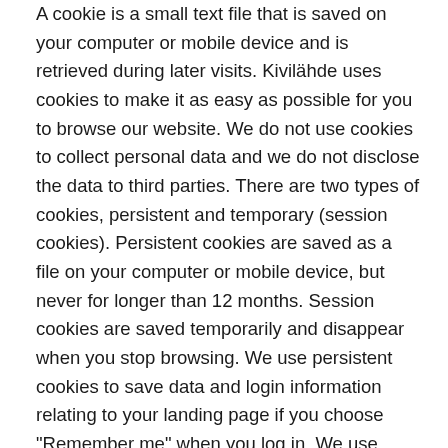A cookie is a small text file that is saved on your computer or mobile device and is retrieved during later visits. Kivilähde uses cookies to make it as easy as possible for you to browse our website. We do not use cookies to collect personal data and we do not disclose the data to third parties. There are two types of cookies, persistent and temporary (session cookies). Persistent cookies are saved as a file on your computer or mobile device, but never for longer than 12 months. Session cookies are saved temporarily and disappear when you stop browsing. We use persistent cookies to save data and login information relating to your landing page if you choose "Remember me" when you log in. We use session cookies when you use the filter function and when we check whether you are logged in or whether you have added a product to your shopping cart. You can easily delete cookies from your computer or mobile device using your browser. You can find instructions on how to use and delete cookies in the "Help" section of your browser. You can disable cookies or choose to be notified